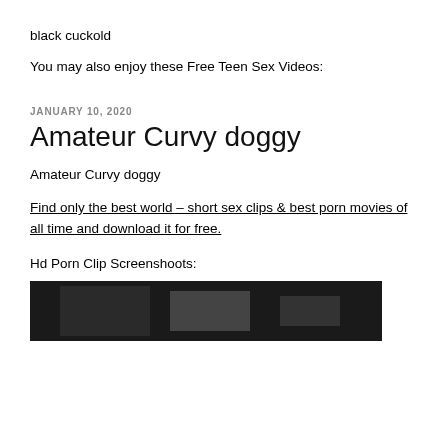black cuckold
You may also enjoy these Free Teen Sex Videos:
JANUARY 10, 2020
Amateur Curvy doggy
Amateur Curvy doggy
Find only the best world – short sex clips & best porn movies of all time and download it for free.
Hd Porn Clip Screenshoots:
[Figure (photo): Dark screenshot/thumbnail image at the bottom of the page]